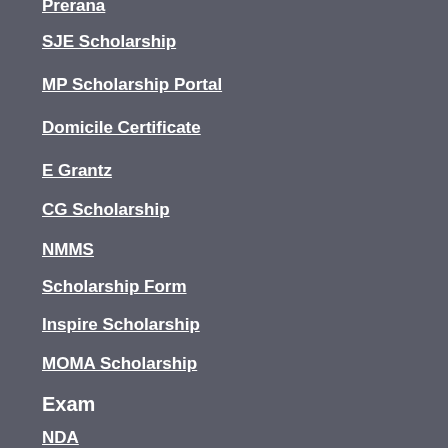Prerana
SJE Scholarship
MP Scholarship Portal
Domicile Certificate
E Grantz
CG Scholarship
NMMS
Scholarship Form
Inspire Scholarship
MOMA Scholarship
Exam
NDA